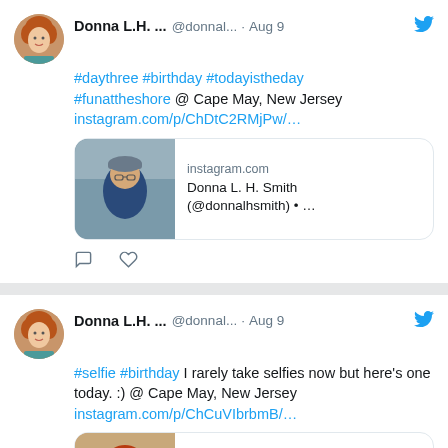[Figure (screenshot): Tweet 1: Donna L.H. ... @donnal... · Aug 9 with hashtags #daythree #birthday #todayistheday #funattheshore @ Cape May, New Jersey instagram.com/p/ChDtC2RMjPw/... with Instagram preview card showing a man in a cap and Donna L. H. Smith (@donnalhsmith) • ...]
[Figure (screenshot): Tweet 2: Donna L.H. ... @donnal... · Aug 9 with #selfie #birthday I rarely take selfies now but here's one today. :) @ Cape May, New Jersey instagram.com/p/ChCuVIbrbmB/... with Instagram preview card showing a woman with red hair and sunglasses and Donna L. H. Smith (@donnalhsmith) • ...]